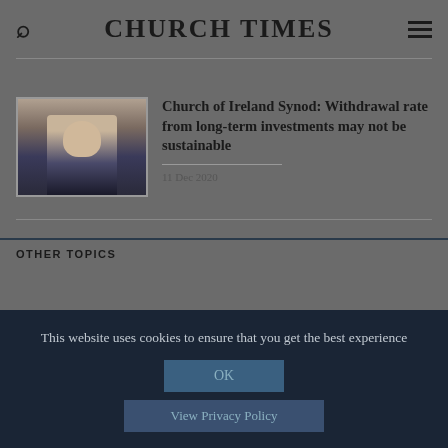CHURCH TIMES
[Figure (photo): Thumbnail photo of a clergyman wearing glasses and clerical collar, seated in front of a bookshelf.]
Church of Ireland Synod: Withdrawal rate from long-term investments may not be sustainable
11 Dec 2020
OTHER TOPICS
This website uses cookies to ensure that you get the best experience
OK
View Privacy Policy